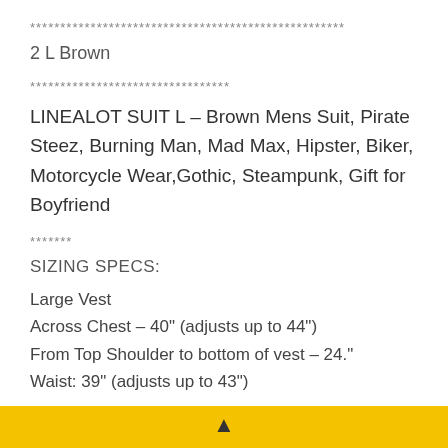****************************************************
2 L Brown
*********************************
LINEALOT SUIT L – Brown Mens Suit, Pirate Steez, Burning Man, Mad Max, Hipster, Biker, Motorcycle Wear,Gothic, Steampunk, Gift for Boyfriend
*******
SIZING SPECS:
Large Vest
Across Chest – 40" (adjusts up to 44")
From Top Shoulder to bottom of vest – 24."
Waist: 39" (adjusts up to 43")
▲